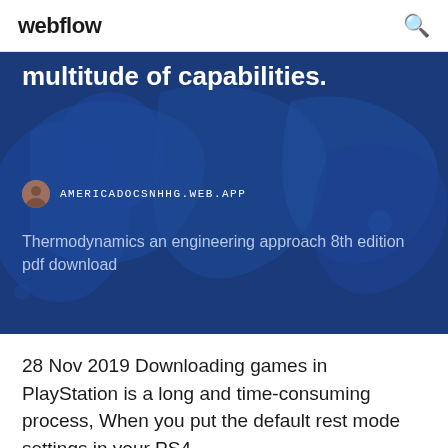webflow
multitude of capabilities.
AMERICADOCSNHHG.WEB.APP
Thermodynamics an engineering approach 8th edition pdf download
28 Nov 2019 Downloading games in PlayStation is a long and time-consuming process, When you put the default rest mode settings in your PS4